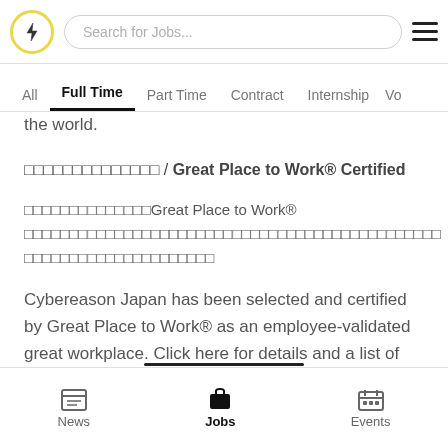[Figure (screenshot): Top navigation bar with lightning bolt logo in yellow circle, search bar 'Search for Jobs...', and hamburger menu icon]
All | Full Time | Part Time | Contract | Internship | Vo...
the world.
□□□□□□□□□□□□□□ / Great Place to Work® Certified
□□□□□□□□□□□□□□Great Place to Work® □□□□□□□□□□□□□□□□□□□□□□□□□□□□□□□□□□□□□□□□□□□□□□□□□□□□□□□□□□□□□□□□
Cybereason Japan has been selected and certified by Great Place to Work® as an employee-validated great workplace. Click here for details and a list of certified companies.
News | Jobs | Events